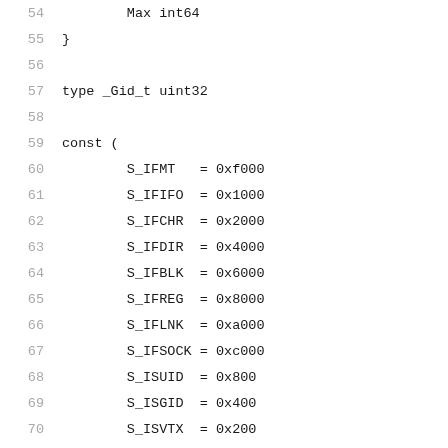54    Max int64
55  }
56
57  type _Gid_t uint32
58
59  const (
60          S_IFMT   = 0xf000
61          S_IFIFO  = 0x1000
62          S_IFCHR  = 0x2000
63          S_IFDIR  = 0x4000
64          S_IFBLK  = 0x6000
65          S_IFREG  = 0x8000
66          S_IFLNK  = 0xa000
67          S_IFSOCK = 0xc000
68          S_ISUID  = 0x800
69          S_ISGID  = 0x400
70          S_ISVTX  = 0x200
71          S_IRUSR  = 0x100
72          S_IWUSR  = 0x80
73          S_IXUSR  = 0x40
74          S_IRWXG  = 0x38
75          S_IRWXO  = 0x7